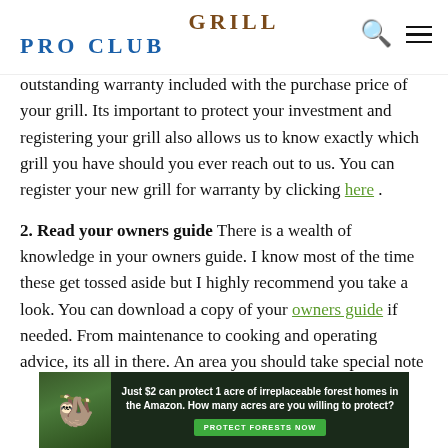GRILL PRO CLUB
outstanding warranty included with the purchase price of your grill. Its important to protect your investment and registering your grill also allows us to know exactly which grill you have should you ever reach out to us. You can register your new grill for warranty by clicking here .
2. Read your owners guide There is a wealth of knowledge in your owners guide. I know most of the time these get tossed aside but I highly recommend you take a look. You can download a copy of your owners guide if needed. From maintenance to cooking and operating advice, its all in there. An area you should take special note of is the section on checking for gas leaks.
[Figure (infographic): Advertisement banner: dark green background with sloth image on left. Text reads: 'Just $2 can protect 1 acre of irreplaceable forest homes in the Amazon. How many acres are you willing to protect?' with a green button 'PROTECT FORESTS NOW']